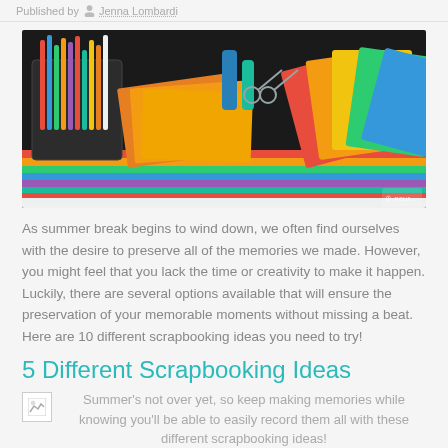Published by Jenna Lombardi
[Figure (photo): Overhead view of colorful craft and office supplies — pens, markers, scissors, colored paper strips, and organizer trays on a desk. Bright colors including orange, green, red, blue, yellow, and pink.]
As summer break begins to wind down, we often find ourselves with the desire to preserve all of the memories we made. However, you might feel that you lack the time or creativity to make it happen. Luckily, there are several options available that will ensure the preservation of your memorable moments without missing a beat. Here are 10 different scrapbooking ideas you need to try!
5 Different Scrapbooking Ideas
Summer's not over yet, so keep making memories while knowing you'll be able to easily record them all with these different scrapbooking ideas!